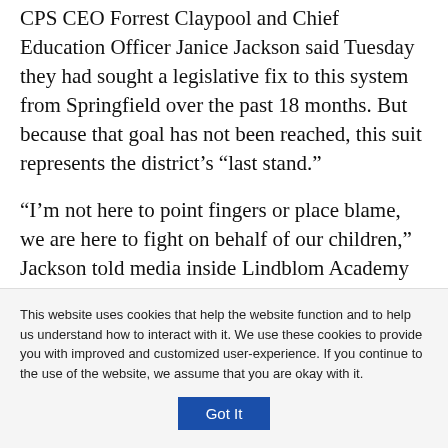CPS CEO Forrest Claypool and Chief Education Officer Janice Jackson said Tuesday they had sought a legislative fix to this system from Springfield over the past 18 months. But because that goal has not been reached, this suit represents the district's “last stand.”
“I’m not here to point fingers or place blame, we are here to fight on behalf of our children,” Jackson told media inside Lindblom Academy Tuesday afternoon, “because the disparity between CPS and wealthier districts in Illinois is stark. it is clear ... I am now convinced it is
This website uses cookies that help the website function and to help us understand how to interact with it. We use these cookies to provide you with improved and customized user-experience. If you continue to the use of the website, we assume that you are okay with it.
Got It